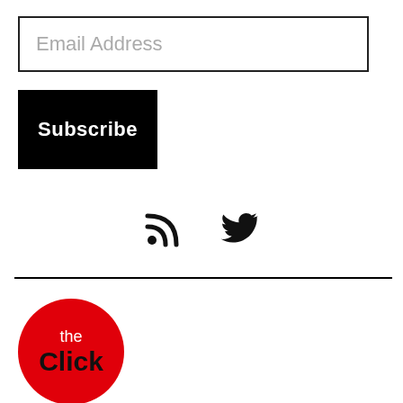Email Address
Subscribe
[Figure (other): RSS feed icon and Twitter bird icon side by side]
[Figure (logo): The Click logo: red circle with 'the' in white and 'Click' in black bold text]